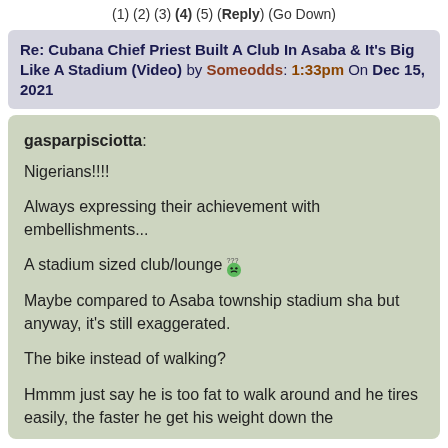(1) (2) (3) (4) (5) (Reply) (Go Down)
Re: Cubana Chief Priest Built A Club In Asaba & It's Big Like A Stadium (Video) by Someodds: 1:33pm On Dec 15, 2021
gasparpisciotta:
Nigerians!!!!

Always expressing their achievement with embellishments...

A stadium sized club/lounge

Maybe compared to Asaba township stadium sha but anyway, it's still exaggerated.

The bike instead of walking?

Hmmm just say he is too fat to walk around and he tires easily, the faster he get his weight down the